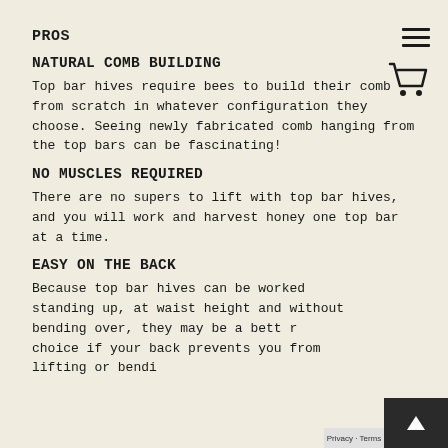PROS
NATURAL COMB BUILDING
Top bar hives require bees to build their comb from scratch in whatever configuration they choose. Seeing newly fabricated comb hanging from the top bars can be fascinating!
NO MUSCLES REQUIRED
There are no supers to lift with top bar hives, and you will work and harvest honey one top bar at a time.
EASY ON THE BACK
Because top bar hives can be worked standing up, at waist height and without bending over, they may be a better choice if your back prevents you from lifting or bending...